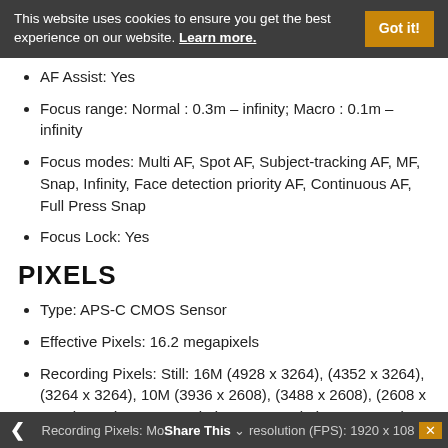This website uses cookies to ensure you get the best experience on our website. Learn more.
AF Assist: Yes
Focus range: Normal : 0.3m – infinity; Macro : 0.1m – infinity
Focus modes: Multi AF, Spot AF, Subject-tracking AF, MF, Snap, Infinity, Face detection priority AF, Continuous AF, Full Press Snap
Focus Lock: Yes
PIXELS
Type: APS-C CMOS Sensor
Effective Pixels: 16.2 megapixels
Recording Pixels: Still: 16M (4928 x 3264), (4352 x 3264), (3264 x 3264), 10M (3936 x 2608), (3488 x 2608), (2608 x 2608), 5M (2912 x 1936), (2592 x 1936), (1936 x 1936), 1M (1280 x 864), (1152 x 864), (864 x 864)
Recording Pixels: Movie Resolution (FPS): 1920 x 1080